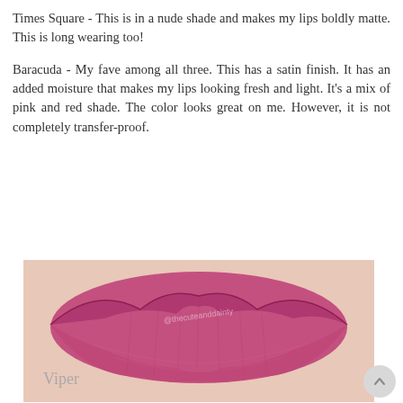Times Square - This is in a nude shade and makes my lips boldly matte. This is long wearing too!
Baracuda - My fave among all three. This has a satin finish. It has an added moisture that makes my lips looking fresh and light. It's a mix of pink and red shade. The color looks great on me. However, it is not completely transfer-proof.
[Figure (photo): Close-up photo of lips wearing a pink-magenta lipstick shade labeled 'Viper' with watermark '@thecuteanddainty']
[Figure (photo): Close-up photo of lips wearing a muted pink/nude lipstick shade with watermark '@thecuteanddainty' partially visible]